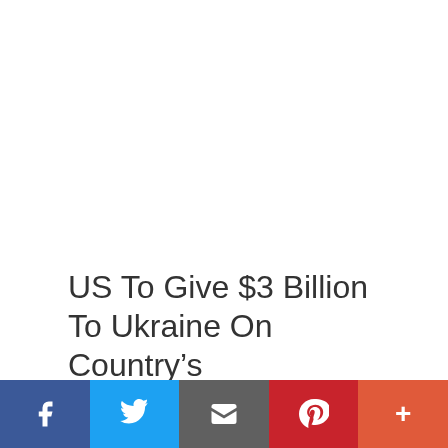US To Give $3 Billion To Ukraine On Country’s Independence Day As War Rages
[Figure (other): Social media sharing bar with buttons for Facebook, Twitter, Email, Pinterest, and More]